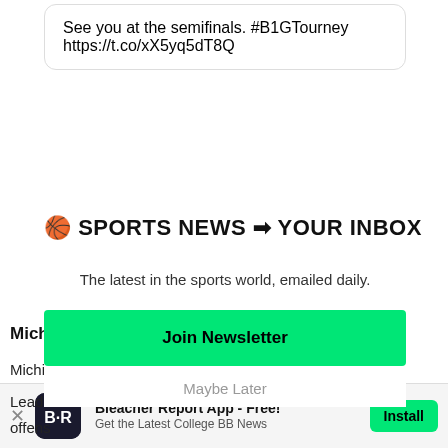See you at the semifinals. #B1GTourney https://t.co/xX5yq5dT8Q
🏀 SPORTS NEWS ➡ YOUR INBOX
Michig
The latest in the sports world, emailed daily.
Michig never No. 1 s
Join Newsletter
Maybe Later
Leadin offens a doub Xavier
Bleacher Report App - Free! Get the Latest College BB News Install